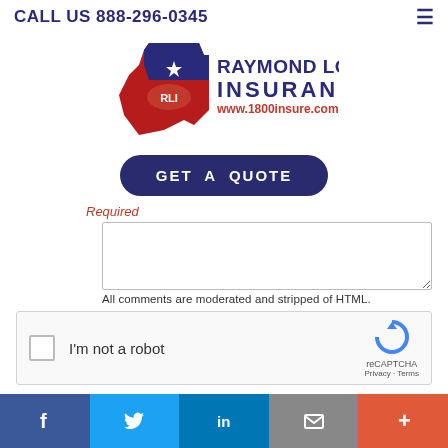CALL US 888-296-0345
[Figure (logo): Raymond Longoria Insurance logo with Texas state shape, RLI badge, and www.1800insure.com URL]
GET A QUOTE
Required
All comments are moderated and stripped of HTML.
[Figure (other): reCAPTCHA widget with checkbox and 'I'm not a robot' label]
Post Comment
Facebook | Twitter | LinkedIn | Email | More